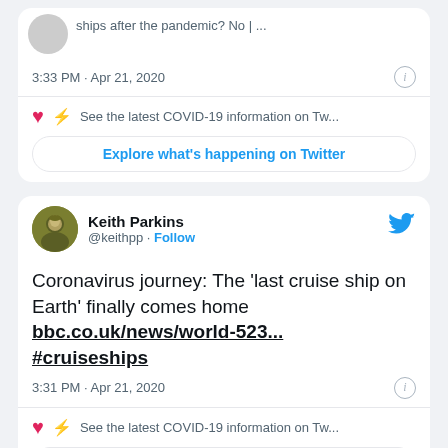[Figure (screenshot): Partial Twitter/X tweet card at top showing truncated text 'Ships after the pandemic? No |...' with timestamp 3:33 PM · Apr 21, 2020 and COVID-19 info bar and Explore button]
[Figure (screenshot): Full Twitter/X tweet card by Keith Parkins (@keithpp) with Follow button and Twitter bird icon. Tweet text: 'Coronavirus journey: The last cruise ship on Earth finally comes home bbc.co.uk/news/world-523... #cruiseships'. Timestamp: 3:31 PM · Apr 21, 2020. COVID-19 info bar and Explore what's happening on Twitter button.]